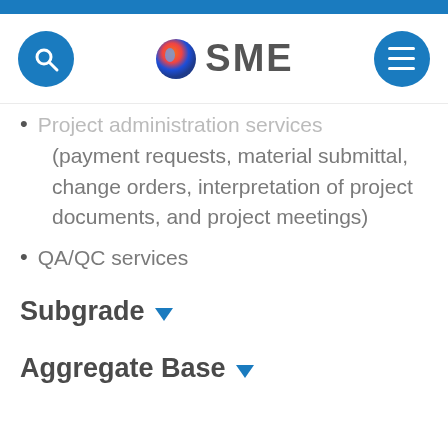[Figure (logo): SME logo with search icon on left and hamburger menu icon on right in a website header navigation bar]
Project administration services (payment requests, material submittal, change orders, interpretation of project documents, and project meetings)
QA/QC services
Subgrade
Aggregate Base